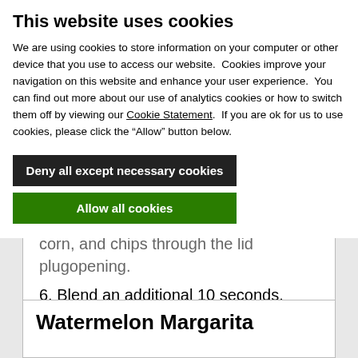This website uses cookies
We are using cookies to store information on your computer or other device that you use to access our website.  Cookies improve your navigation on this website and enhance your user experience.  You can find out more about our use of analytics cookies or how to switch them off by viewing our Cookie Statement.  If you are ok for us to use cookies, please click the “Allow” button below.
Deny all except necessary cookies
Allow all cookies
Show details
corn, and chips through the lid plugopening.
6. Blend an additional 10 seconds.
Watermelon Margarita